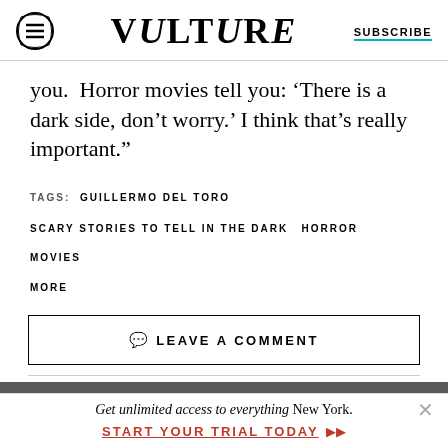Vulture | SUBSCRIBE
you. Horror movies tell you: ‘There is a dark side, don’t worry.’ I think that’s really important.”
TAGS: GUILLERMO DEL TORO  SCARY STORIES TO TELL IN THE DARK  HORROR  MOVIES  MORE
LEAVE A COMMENT
[Figure (photo): Dark banner image strip at bottom of article]
Get unlimited access to everything New York. START YOUR TRIAL TODAY